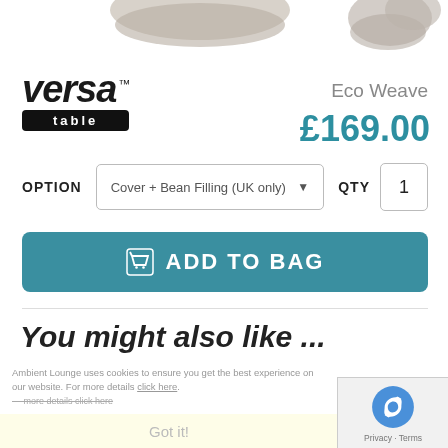[Figure (photo): Partial product photos at top of page – beanbag/lounger products shown cropped]
[Figure (logo): Versa Table brand logo – stylized italic 'versa' with TM mark above a black bar with 'table' in white]
Eco Weave
£169.00
OPTION  Cover + Bean Filling (UK only) ▼   QTY  1
🛒 ADD TO BAG
You might also like ...
Ambient Lounge uses cookies to ensure you get the best experience on our website. For more details click here.
Got it!